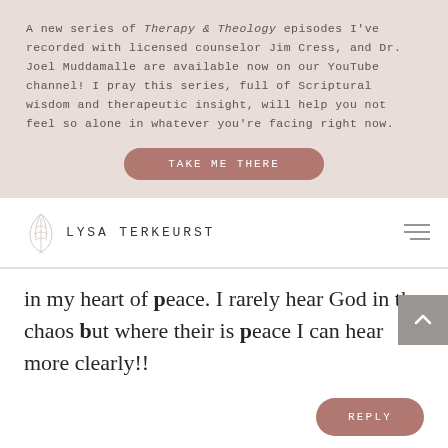A new series of Therapy & Theology episodes I've recorded with licensed counselor Jim Cress, and Dr. Joel Muddamalle are available now on our YouTube channel! I pray this series, full of Scriptural wisdom and therapeutic insight, will help you not feel so alone in whatever you're facing right now.
TAKE ME THERE
[Figure (logo): Lysa TerKeurst website logo with decorative leaf/branch illustration and site name in spaced uppercase letters, with hamburger menu icon on the right]
in my heart of peace. I rarely hear God in the chaos but where their is peace I can hear more clearly!!
REPLY